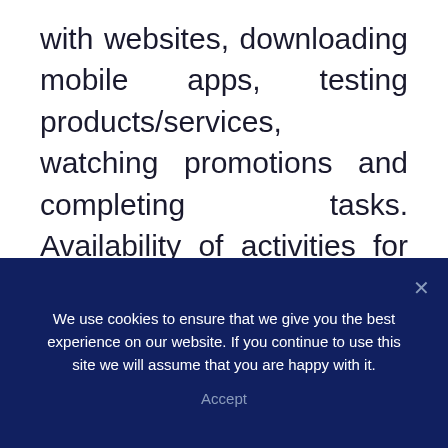with websites, downloading mobile apps, testing products/services, watching promotions and completing tasks. Availability of activities for all these depends on your geographical location. If you are residing in Asia or Africa, you may not have many offers.

Minimum withdrawal amount in ySense is ten dollars and payment made to your
We use cookies to ensure that we give you the best experience on our website. If you continue to use this site we will assume that you are happy with it.
Accept